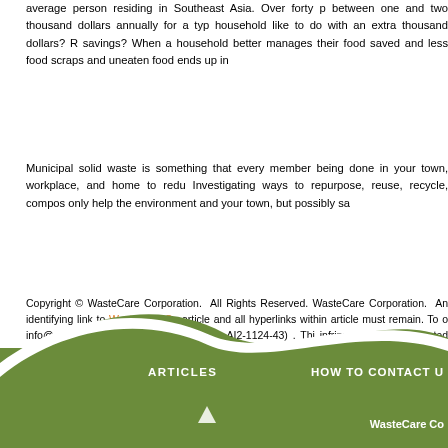average person residing in Southeast Asia. Over forty percent between one and two thousand dollars annually for a typical household like to do with an extra thousand dollars? R savings? When a household better manages their food saved and less food scraps and uneaten food ends up in
Municipal solid waste is something that every member being done in your town, workplace, and home to reduce Investigating ways to repurpose, reuse, recycle, compos only help the environment and your town, but possibly sa
Copyright © WasteCare Corporation. All Rights Reserved. WasteCare Corporation. An identifying link to WasteCare Co article and all hyperlinks within article must remain. To o info@wastecare.com . (Reference Article AI2-1124-43) . Thi infringement by automated scans that include all websites worl
Follow Us on Facebook
Follow
ARTICLES    HOW TO CONTACT U    WasteCare Co